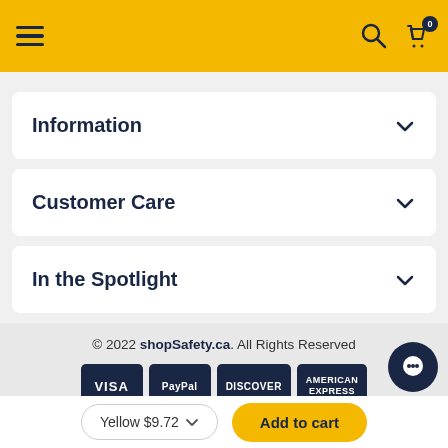shopSafety.ca navigation header with hamburger menu, search and cart icons
Information
Customer Care
In the Spotlight
© 2022 shopSafety.ca. All Rights Reserved
[Figure (logo): Payment icons: VISA, PayPal, DISCOVER, AMERICAN EXPRESS]
Yellow $9.72
Add to cart